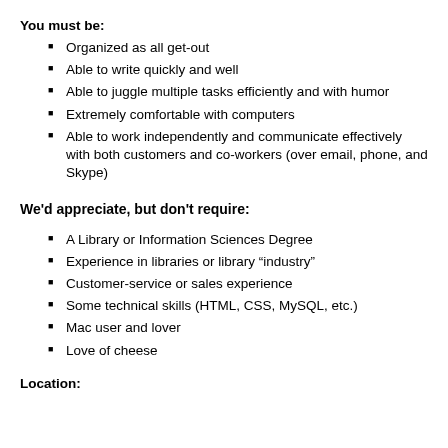You must be:
Organized as all get-out
Able to write quickly and well
Able to juggle multiple tasks efficiently and with humor
Extremely comfortable with computers
Able to work independently and communicate effectively with both customers and co-workers (over email, phone, and Skype)
We'd appreciate, but don't require:
A Library or Information Sciences Degree
Experience in libraries or library “industry”
Customer-service or sales experience
Some technical skills (HTML, CSS, MySQL, etc.)
Mac user and lover
Love of cheese
Location: